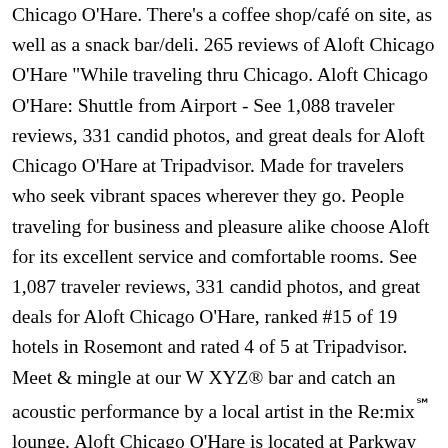Chicago O'Hare. There's a coffee shop/café on site, as well as a snack bar/deli. 265 reviews of Aloft Chicago O'Hare "While traveling thru Chicago. Aloft Chicago O'Hare: Shuttle from Airport - See 1,088 traveler reviews, 331 candid photos, and great deals for Aloft Chicago O'Hare at Tripadvisor. Made for travelers who seek vibrant spaces wherever they go. People traveling for business and pleasure alike choose Aloft for its excellent service and comfortable rooms. See 1,087 traveler reviews, 331 candid photos, and great deals for Aloft Chicago O'Hare, ranked #15 of 19 hotels in Rosemont and rated 4 of 5 at Tripadvisor. Meet & mingle at our W XYZ® bar and catch an acoustic performance by a local artist in the Re:mix℠ lounge. Aloft Chicago O'Hare is located at Parkway Bank Park Entertainment District, an exciting area with a comedy club, restaurants, and a movie theater. Aloft Chicago O'Hare offers its guests an indoor pool and a 24-hour fitness center. FYI we aren't like other airport hotels. Located inside Parkway Bank Park, Aloft